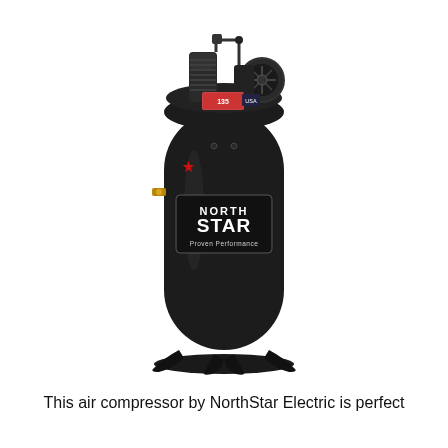[Figure (photo): A tall black vertical NorthStar air compressor with a cylindrical tank, compressor pump and motor assembly on top, gauge panel, brass drain valve on the side, and four cast-iron feet at the base. The tank displays a NorthStar logo badge with 'Proven Performance' tagline and a red star.]
This air compressor by NorthStar Electric is perfect